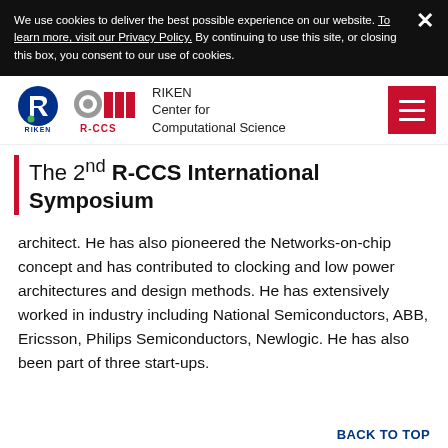We use cookies to deliver the best possible experience on our website. To learn more, visit our Privacy Policy. By continuing to use this site, or closing this box, you consent to our use of cookies.
[Figure (logo): RIKEN and R-CCS logos with text 'RIKEN Center for Computational Science']
The 2nd R-CCS International Symposium
architect. He has also pioneered the Networks-on-chip concept and has contributed to clocking and low power architectures and design methods. He has extensively worked in industry including National Semiconductors, ABB, Ericsson, Philips Semiconductors, Newlogic. He has also been part of three start-ups.
BACK TO TOP